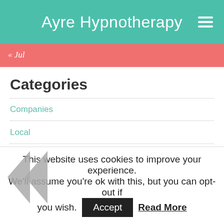Ayre Hypnotherapy
« Jul
Categories
Companies
Local
Production
Services
This website uses cookies to improve your experience. We'll assume you're ok with this, but you can opt-out if you wish. Accept Read More